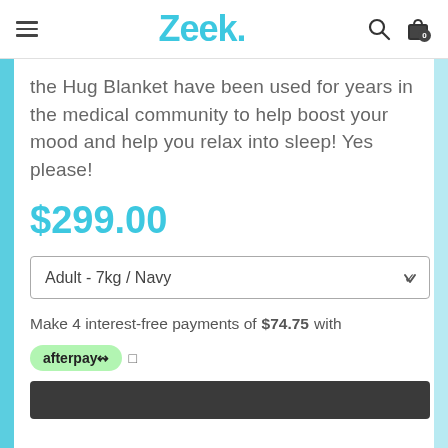Zeek.
the Hug Blanket have been used for years in the medical community to help boost your mood and help you relax into sleep! Yes please!
$299.00
Adult - 7kg / Navy
Make 4 interest-free payments of $74.75 with afterpay